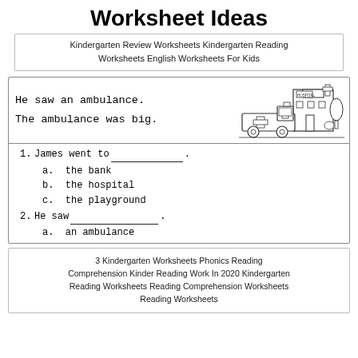Worksheet Ideas
Kindergarten Review Worksheets Kindergarten Reading Worksheets English Worksheets For Kids
[Figure (illustration): A worksheet showing a reading comprehension passage with text 'He saw an ambulance. The ambulance was big.' alongside a line drawing of an ambulance in front of a hospital building.]
1. James went to _____.
a. the bank
b. the hospital
c. the playground
2. He saw _____.
a. an ambulance
3 Kindergarten Worksheets Phonics Reading Comprehension Kinder Reading Work In 2020 Kindergarten Reading Worksheets Reading Comprehension Worksheets Reading Worksheets